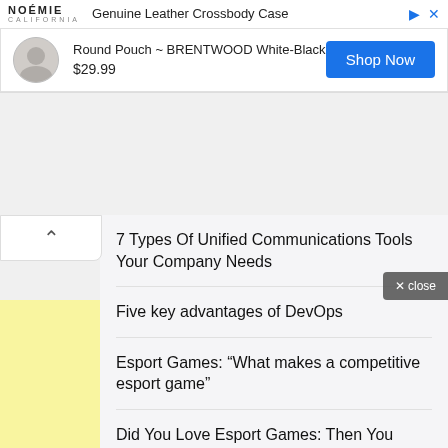[Figure (screenshot): Advertisement banner for NOÉMIE Genuine Leather Crossbody Case - Round Pouch BRENTWOOD White-Black priced at $29.99 with Shop Now button]
7 Types Of Unified Communications Tools Your Company Needs
Five key advantages of DevOps
Esport Games: “What makes a competitive esport game”
Did You Love Esport Games: Then You Should Definitely Know Which Ones Most People...